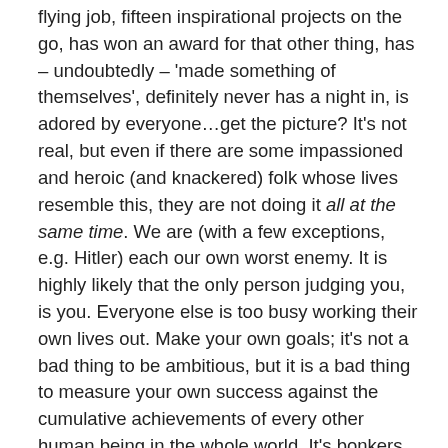flying job, fifteen inspirational projects on the go, has won an award for that other thing, has – undoubtedly – 'made something of themselves', definitely never has a night in, is adored by everyone…get the picture? It's not real, but even if there are some impassioned and heroic (and knackered) folk whose lives resemble this, they are not doing it all at the same time. We are (with a few exceptions, e.g. Hitler) each our own worst enemy. It is highly likely that the only person judging you, is you. Everyone else is too busy working their own lives out. Make your own goals; it's not a bad thing to be ambitious, but it is a bad thing to measure your own success against the cumulative achievements of every other human being in the whole world. It's bonkers. Give yourself a break and be kind to yourself.
Now: Back on earth